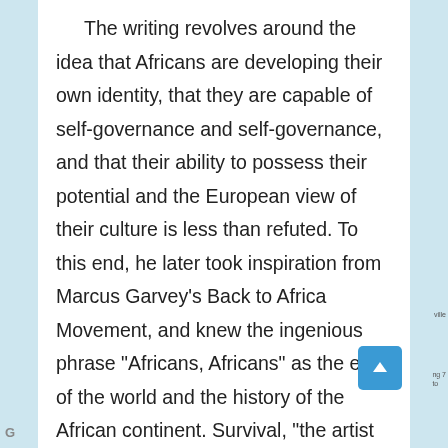The writing revolves around the idea that Africans are developing their own identity, that they are capable of self-governance and self-governance, and that their ability to possess their potential and the European view of their culture is less than refuted. To this end, he later took inspiration from Marcus Garvey's Back to Africa Movement, and knew the ingenious phrase "Africans, Africans" as the end of the world and the history of the African continent. Survival, "the artist shows himself crossing deep